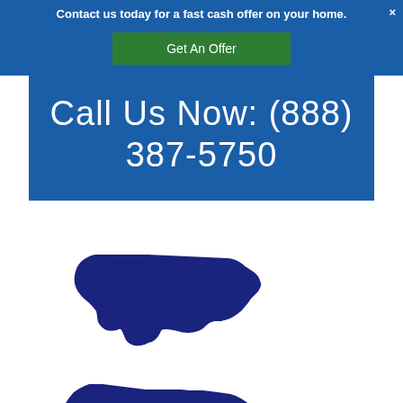Contact us today for a fast cash offer on your home. ×
Get An Offer
Call Us Now: (888) 387-5750
[Figure (map): Silhouette map of the contiguous United States in dark navy/blue color on white background]